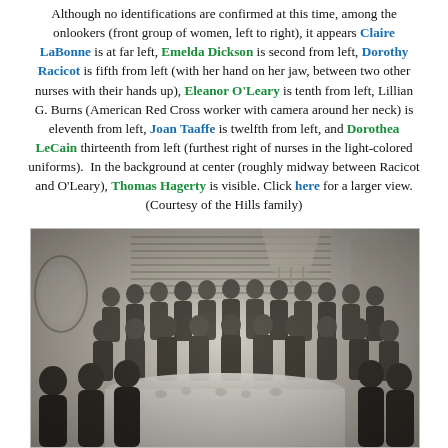Although no identifications are confirmed at this time, among the onlookers (front group of women, left to right), it appears Claire LaBonne is at far left, Emelda Dickson is second from left, Dorothy Racicot is fifth from left (with her hand on her jaw, between two other nurses with their hands up), Eleanor O'Leary is tenth from left, Lillian G. Burns (American Red Cross worker with camera around her neck) is eleventh from left, Joan Taaffe is twelfth from left, and Dorothea LeCain thirteenth from left (furthest right of nurses in the light-colored uniforms). In the background at center (roughly midway between Racicot and O'Leary), Thomas Hagerty is visible. Click here for a larger view. (Courtesy of the Hills family)
[Figure (photo): Black and white photograph of a large group of women, many appearing to be nurses, gathered around a table in what looks like a banquet or meeting room. A mirror is visible on the left wall, window blinds in the background, and a chandelier overhead. Women are seated and standing in multiple rows.]